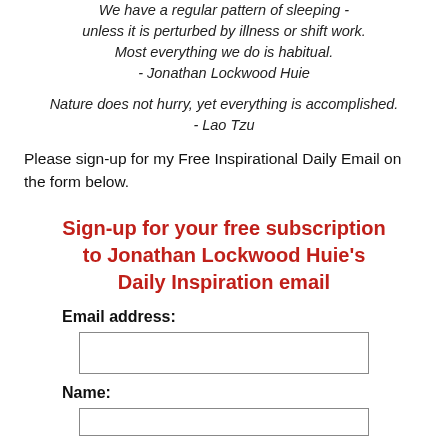We have a regular pattern of sleeping - unless it is perturbed by illness or shift work. Most everything we do is habitual. - Jonathan Lockwood Huie
Nature does not hurry, yet everything is accomplished. - Lao Tzu
Please sign-up for my Free Inspirational Daily Email on the form below.
Sign-up for your free subscription to Jonathan Lockwood Huie's Daily Inspiration email
Email address:
Name: